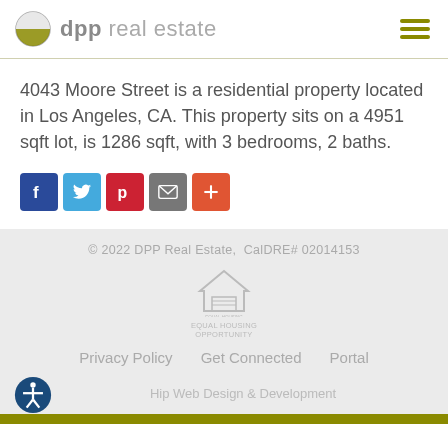[Figure (logo): DPP Real Estate logo with circular icon (half green/half white) and text 'dpp real estate' in grey]
4043 Moore Street is a residential property located in Los Angeles, CA. This property sits on a 4951 sqft lot, is 1286 sqft, with 3 bedrooms, 2 baths.
[Figure (infographic): Social sharing buttons: Facebook (blue F), Twitter (blue bird), Pinterest (red P), Email (grey envelope), Plus (orange +)]
© 2022 DPP Real Estate, CalDRE# 02014153
Privacy Policy   Get Connected   Portal
Hip Web Design & Development